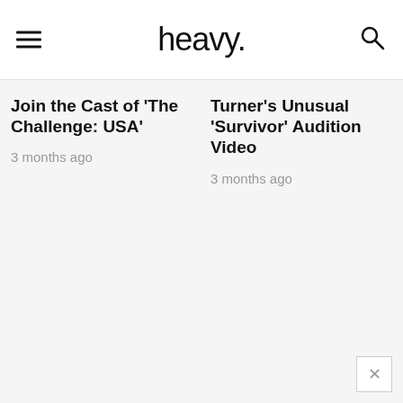heavy.
Join the Cast of 'The Challenge: USA'
3 months ago
Turner's Unusual 'Survivor' Audition Video
3 months ago